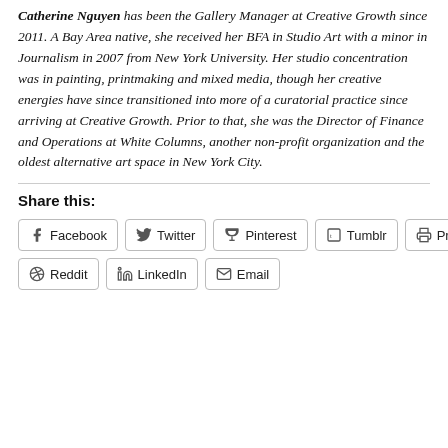Catherine Nguyen has been the Gallery Manager at Creative Growth since 2011. A Bay Area native, she received her BFA in Studio Art with a minor in Journalism in 2007 from New York University. Her studio concentration was in painting, printmaking and mixed media, though her creative energies have since transitioned into more of a curatorial practice since arriving at Creative Growth. Prior to that, she was the Director of Finance and Operations at White Columns, another non-profit organization and the oldest alternative art space in New York City.
Share this:
Facebook | Twitter | Pinterest | Tumblr | Print | Reddit | LinkedIn | Email